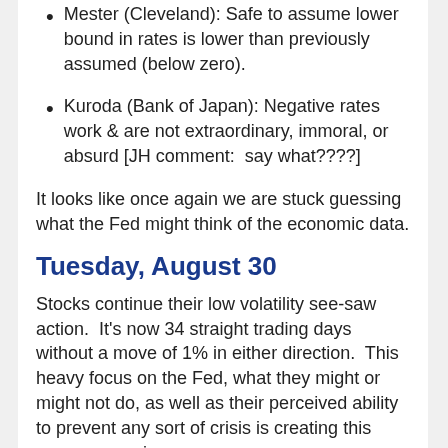Mester (Cleveland): Safe to assume lower bound in rates is lower than previously assumed (below zero).
Kuroda (Bank of Japan): Negative rates work & are not extraordinary, immoral, or absurd [JH comment:  say what????]
It looks like once again we are stuck guessing what the Fed might think of the economic data.
Tuesday, August 30
Stocks continue their low volatility see-saw action.  It's now 34 straight trading days without a move of 1% in either direction.  This heavy focus on the Fed, what they might or might not do, as well as their perceived ability to prevent any sort of crisis is creating this mess we are in.